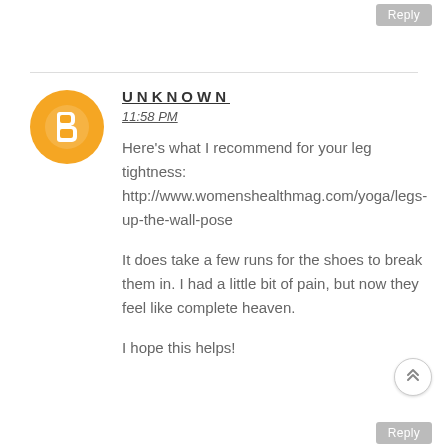Reply
UNKNOWN
11:58 PM
Here's what I recommend for your leg tightness: http://www.womenshealthmag.com/yoga/legs-up-the-wall-pose
It does take a few runs for the shoes to break them in. I had a little bit of pain, but now they feel like complete heaven.
I hope this helps!
Reply